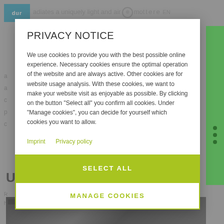[Figure (screenshot): Background webpage with logo, navigation text, green sidebar with dots, 'USED PRODUCTS' heading, horizontal rule, and a dark texture image at bottom. A semi-transparent overlay covers the background.]
PRIVACY NOTICE
We use cookies to provide you with the best possible online experience. Necessary cookies ensure the optimal operation of the website and are always active. Other cookies are for website usage analysis. With these cookies, we want to make your website visit as enjoyable as possible. By clicking on the button "Select all" you confirm all cookies. Under "Manage cookies", you can decide for yourself which cookies you want to allow.
Imprint   Privacy policy
SELECT ALL
MANAGE COOKIES